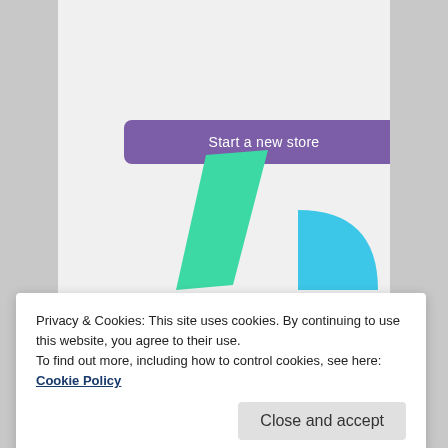subscriptions online
[Figure (illustration): Purple button labeled 'Start a new store' on a light gray background, with a decorative green angular shape and a blue curved shape below it.]
Privacy & Cookies: This site uses cookies. By continuing to use this website, you agree to their use.
To find out more, including how to control cookies, see here: Cookie Policy
June 2022